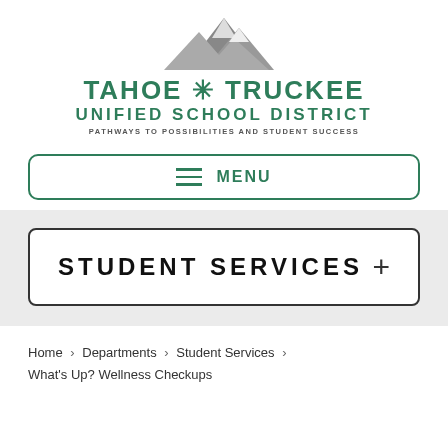[Figure (logo): Tahoe Truckee Unified School District logo with mountain graphic and tagline 'Pathways to Possibilities and Student Success']
[Figure (other): Menu navigation bar with hamburger icon and MENU text, green border]
STUDENT SERVICES
Home › Departments › Student Services › What's Up? Wellness Checkups